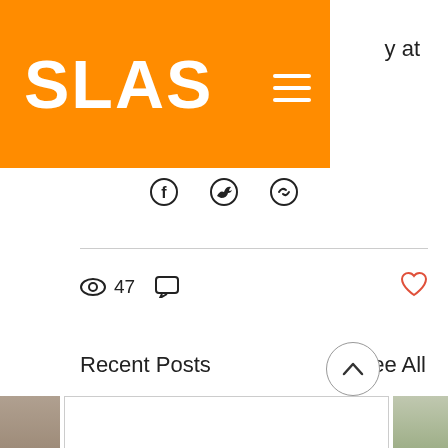SLAS
y at
[Figure (illustration): Social media share icons: Facebook, Twitter, and a link/email icon]
47 views, comment icon, heart/like icon
Recent Posts
See All
[Figure (photo): Left partial blog post card showing a dark indoor/room photo]
[Figure (screenshot): Center blog post card with white background and title: British management of labour in the sheep farmi...]
[Figure (photo): Right partial blog post card showing a green hilly landscape]
British management of labour in the sheep farmi